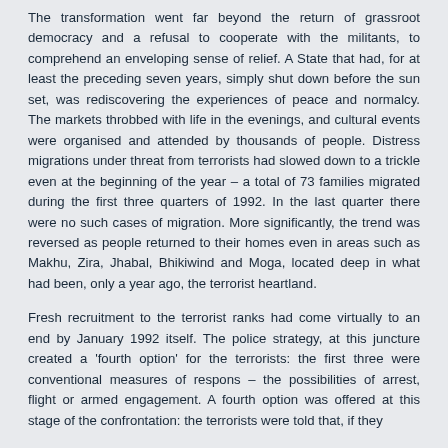The transformation went far beyond the return of grassroot democracy and a refusal to cooperate with the militants, to comprehend an enveloping sense of relief. A State that had, for at least the preceding seven years, simply shut down before the sun set, was rediscovering the experiences of peace and normalcy. The markets throbbed with life in the evenings, and cultural events were organised and attended by thousands of people. Distress migrations under threat from terrorists had slowed down to a trickle even at the beginning of the year – a total of 73 families migrated during the first three quarters of 1992. In the last quarter there were no such cases of migration. More significantly, the trend was reversed as people returned to their homes even in areas such as Makhu, Zira, Jhabal, Bhikiwind and Moga, located deep in what had been, only a year ago, the terrorist heartland.
Fresh recruitment to the terrorist ranks had come virtually to an end by January 1992 itself. The police strategy, at this juncture created a 'fourth option' for the terrorists: the first three were conventional measures of respons – the possibilities of arrest, flight or armed engagement. A fourth option was offered at this stage of the confrontation: the terrorists were told that, if they